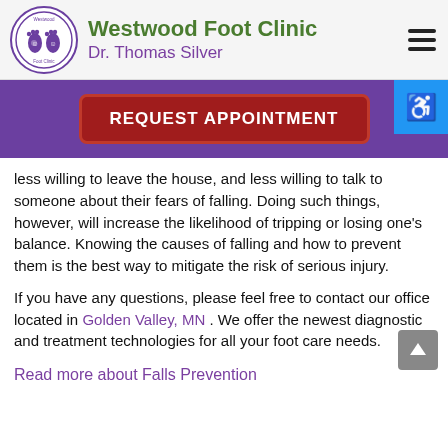Westwood Foot Clinic — Dr. Thomas Silver
[Figure (logo): Westwood Foot Clinic circular logo with purple footprints and smiley faces]
REQUEST APPOINTMENT
less willing to leave the house, and less willing to talk to someone about their fears of falling. Doing such things, however, will increase the likelihood of tripping or losing one's balance. Knowing the causes of falling and how to prevent them is the best way to mitigate the risk of serious injury.
If you have any questions, please feel free to contact our office located in Golden Valley, MN . We offer the newest diagnostic and treatment technologies for all your foot care needs.
Read more about Falls Prevention